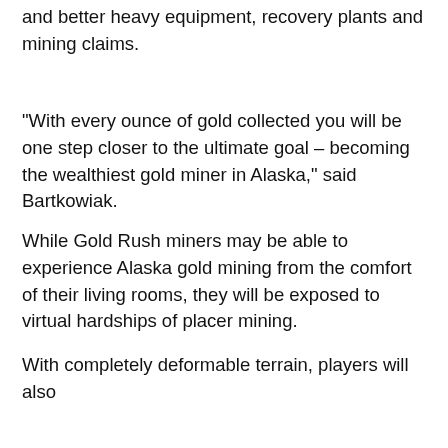and better heavy equipment, recovery plants and mining claims.
"With every ounce of gold collected you will be one step closer to the ultimate goal – becoming the wealthiest gold miner in Alaska," said Bartkowiak.
While Gold Rush miners may be able to experience Alaska gold mining from the comfort of their living rooms, they will be exposed to virtual hardships of placer mining.
On the quest to becoming the wealthiest virtual gold miner in Alaska, players will experience equipment breakdowns and will be challenged by shifting seasons, including battling snow and ice to get that last ounce of aurum for the season.
With completely deformable terrain, players will also